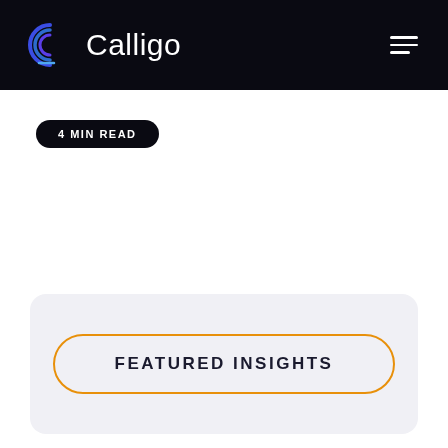Calligo
4 MIN READ
FEATURED INSIGHTS